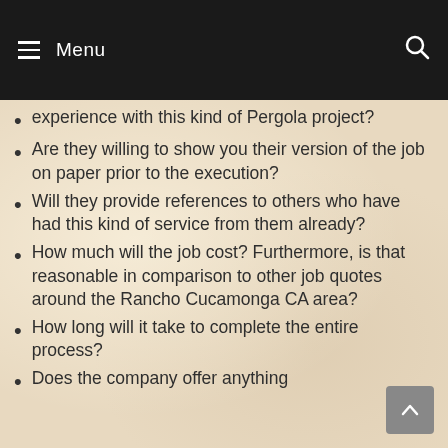Menu
experience with this kind of Pergola project?
Are they willing to show you their version of the job on paper prior to the execution?
Will they provide references to others who have had this kind of service from them already?
How much will the job cost? Furthermore, is that reasonable in comparison to other job quotes around the Rancho Cucamonga CA area?
How long will it take to complete the entire process?
Does the company offer anything